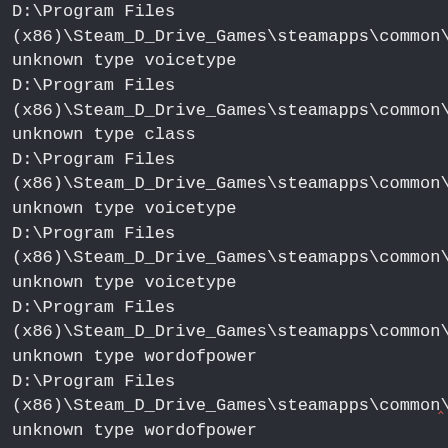D:\Program Files (x86)\Steam_D_Drive_Games\steamapps\common\sky
unknown type voicetype
D:\Program Files (x86)\Steam_D_Drive_Games\steamapps\common\sky
unknown type class
D:\Program Files (x86)\Steam_D_Drive_Games\steamapps\common\sky
unknown type voicetype
D:\Program Files (x86)\Steam_D_Drive_Games\steamapps\common\sky
unknown type voicetype
D:\Program Files (x86)\Steam_D_Drive_Games\steamapps\common\sky
unknown type wordofpower
D:\Program Files (x86)\Steam_D_Drive_Games\steamapps\common\sky
unknown type wordofpower
D:\Program Files (x86)\Steam_D_Drive_Games\steamapps\common\sky
unknown type package